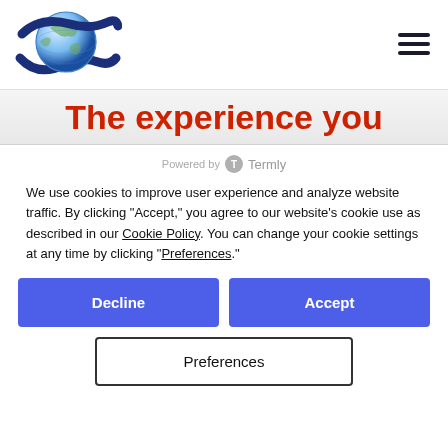[Figure (logo): Company logo with a stylized blue globe/sphere with dark blue curved swoosh ribbons around it, resembling an S-shape. Logo positioned in the top-left of the header.]
[Figure (other): Hamburger menu icon (three horizontal dark navy lines) in the top-right corner.]
The experience you
[Figure (logo): Powered by Termly logo - grey circle with T icon followed by 'Termly' text in grey.]
We use cookies to improve user experience and analyze website traffic. By clicking “Accept,” you agree to our website’s cookie use as described in our Cookie Policy. You can change your cookie settings at any time by clicking “Preferences.”
Decline
Accept
Preferences